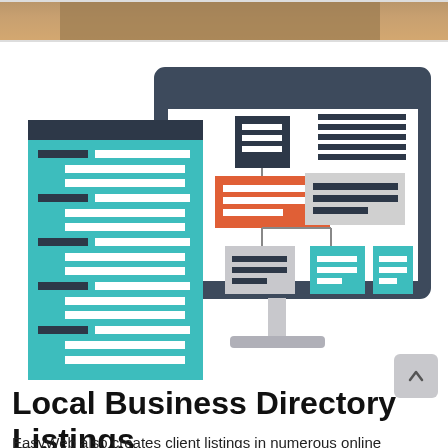[Figure (photo): Top strip photo of a person sitting, partially visible, brown/tan clothing]
[Figure (illustration): Illustration of a computer monitor displaying a website/directory structure flowchart with orange, teal, and gray boxes, alongside a teal document/list graphic with dark and white horizontal lines representing text rows]
Local Business Directory Listings
EasyWeb also creates client listings in numerous online